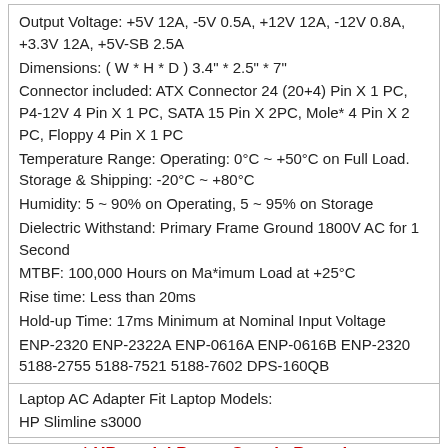Output Voltage: +5V 12A, -5V 0.5A, +12V 12A, -12V 0.8A, +3.3V 12A, +5V-SB 2.5A
Dimensions: ( W * H * D ) 3.4" * 2.5" * 7"
Connector included: ATX Connector 24 (20+4) Pin X 1 PC, P4-12V 4 Pin X 1 PC, SATA 15 Pin X 2PC, Mole* 4 Pin X 2 PC, Floppy 4 Pin X 1 PC
Temperature Range: Operating: 0°C ~ +50°C on Full Load. Storage & Shipping: -20°C ~ +80°C
Humidity: 5 ~ 90% on Operating, 5 ~ 95% on Storage
Dielectric Withstand: Primary Frame Ground 1800V AC for 1 Second
MTBF: 100,000 Hours on Ma*imum Load at +25°C
Rise time: Less than 20ms
Hold-up Time: 17ms Minimum at Nominal Input Voltage
ENP-2320 ENP-2322A ENP-0616A ENP-0616B ENP-2320 5188-2755 5188-7521 5188-7602 DPS-160QB
Laptop AC Adapter Fit Laptop Models:
HP Slimline s3000
* HP model Power Supply Batteries